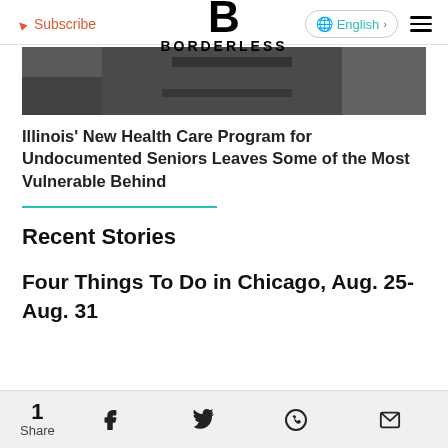Subscribe | BORDERLESS | English
[Figure (photo): Cropped article image showing dark indoor scene]
Illinois' New Health Care Program for Undocumented Seniors Leaves Some of the Most Vulnerable Behind
Recent Stories
Four Things To Do in Chicago, Aug. 25-Aug. 31
1 Share | Facebook | Twitter | WhatsApp | Email